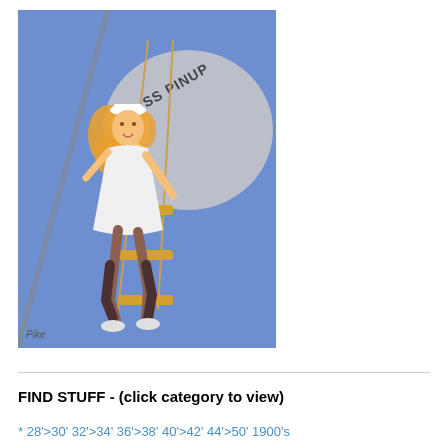[Figure (illustration): Pin-up style illustration of a woman dressed as a sailor in a white dress and white sailor cap, climbing or swinging on a ship's rigging with ropes and wooden rungs, wearing black stockings and white heels. Background is blue sky and a large circular ship element with 'SS PINUP' text. Artist signature 'Pike' visible in lower left.]
FIND STUFF - (click category to view)
* 28'>30' 32'>34' 36'>38' 40'>42' 44'>50' 1900's